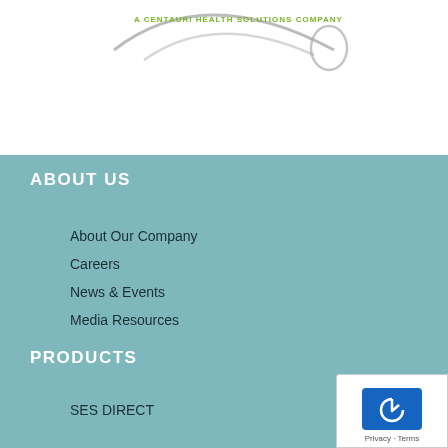[Figure (logo): Centauri Health Solutions company logo with swoosh graphic and green text]
ABOUT US
About Our Company
Careers
News & Events
Media Resources
PRODUCTS
SES DIRECT